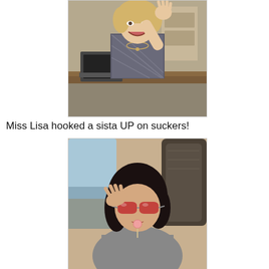[Figure (photo): A middle-aged woman with blonde hair, wearing a patterned blazer and necklace, sitting at a desk and waving with a big smile. Office environment visible in background.]
Miss Lisa hooked a sista UP on suckers!
[Figure (photo): A young woman with dark hair and sunglasses sitting in a car, with a lollipop/sucker in her mouth, posing for the camera.]